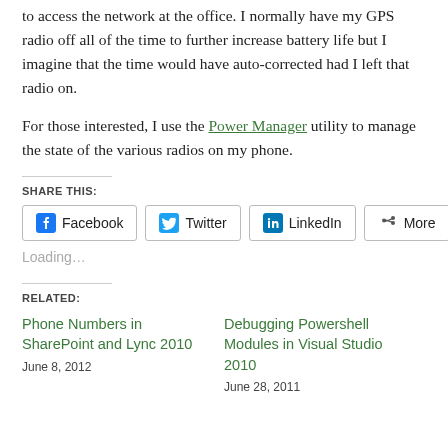to access the network at the office. I normally have my GPS radio off all of the time to further increase battery life but I imagine that the time would have auto-corrected had I left that radio on.
For those interested, I use the Power Manager utility to manage the state of the various radios on my phone.
SHARE THIS:
Facebook  Twitter  LinkedIn  More
Loading…
RELATED:
Phone Numbers in SharePoint and Lync 2010
June 8, 2012
Debugging Powershell Modules in Visual Studio 2010
June 28, 2011